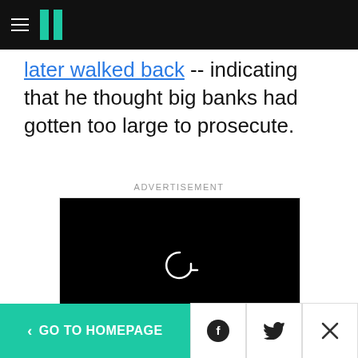HuffPost navigation header
later walked back -- indicating that he thought big banks had gotten too large to prosecute.
ADVERTISEMENT
[Figure (screenshot): Black video player with a circular replay/reload icon in white at center, with a Learn more button below]
< GO TO HOMEPAGE | Facebook icon | Twitter icon | X close icon